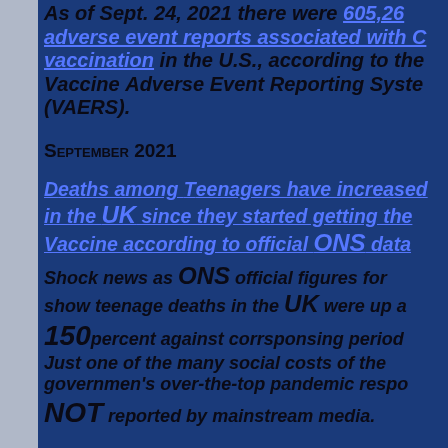As of Sept. 24, 2021 there were 605,263 adverse event reports associated with COVID vaccination in the U.S., according to the Vaccine Adverse Event Reporting System (VAERS).
September 2021
Deaths among Teenagers have increased in the UK since they started getting the Vaccine according to official ONS data
Shock news as ONS official figures for show teenage deaths in the UK were up a 150percent against corrsponsing period. Just one of the many social costs of the governmen's over-the-top pandemic respo... NOT reported by mainstream media.